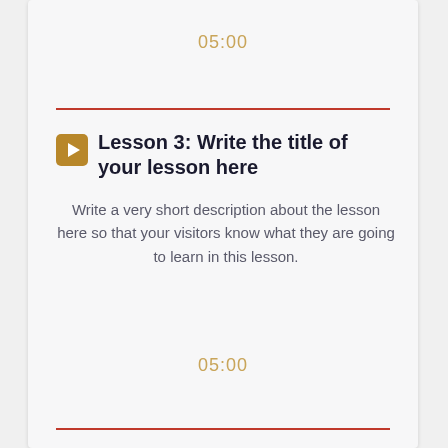05:00
Lesson 3: Write the title of your lesson here
Write a very short description about the lesson here so that your visitors know what they are going to learn in this lesson.
05:00